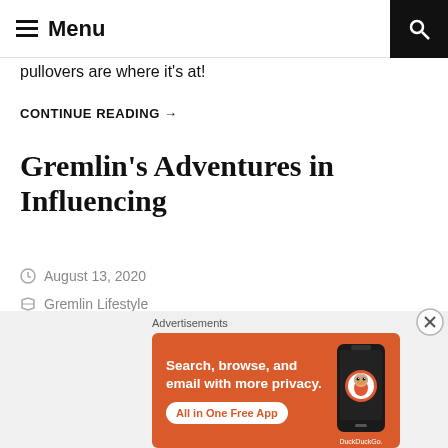Menu
pullovers are where it's at!
CONTINUE READING →
Gremlin's Adventures in Influencing
August 13, 2020
Gremlin Lifestyle
Leave a Comment
[Figure (screenshot): DuckDuckGo advertisement banner: orange background with text 'Search, browse, and email with more privacy. All in One Free App' and a phone graphic with DuckDuckGo logo]